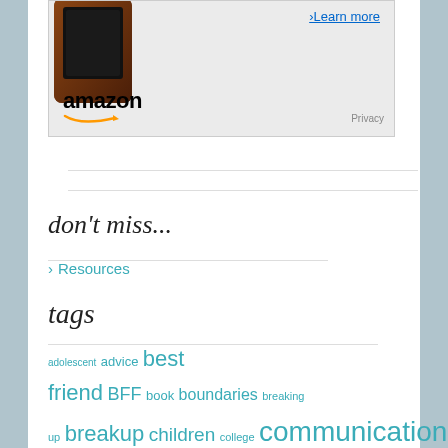[Figure (advertisement): Amazon advertisement showing a dark brown Kindle device in top-left corner, 'Learn more' link in top-right, Amazon logo with orange arrow smile at bottom-left, and 'Privacy' text at bottom-right, on light gray background]
don't miss...
Resources
tags
adolescent advice best friend BFF book boundaries breaking up breakup children college communication death depression dumped Facebook featured female female friendships friend Friends friendship friendship advice